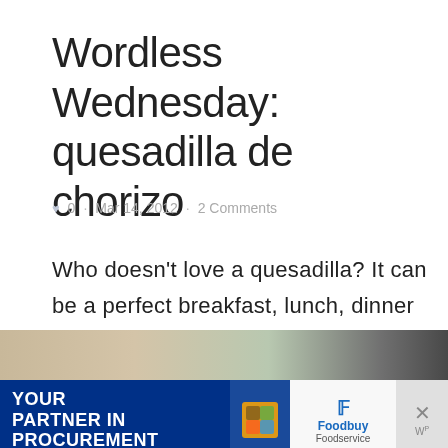Wordless Wednesday: quesadilla de chorizo
♥ 0 · Mar 14, 2012 · 2 Comments
Who doesn't love a quesadilla? It can be a perfect breakfast, lunch, dinner or snack.
[Figure (photo): Advertisement banner with food photo at top, dark blue 'YOUR PARTNER IN PROCUREMENT' ad on left, Foodbuy Foodservice logo in center, and close button on right]